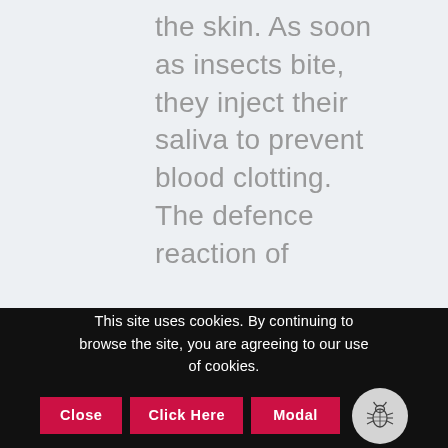the skin. As soon as insects bite, they inject their saliva to prevent blood clotting. The defence reaction of
This site uses cookies. By continuing to browse the site, you are agreeing to our use of cookies.